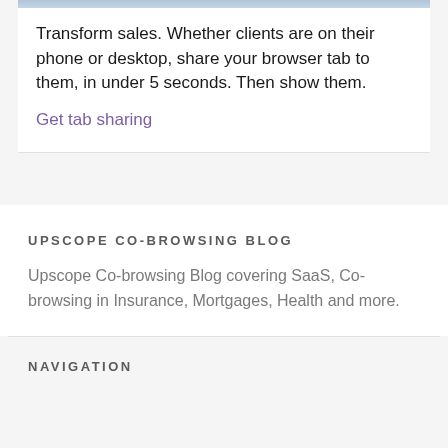Transform sales. Whether clients are on their phone or desktop, share your browser tab to them, in under 5 seconds. Then show them.
Get tab sharing
UPSCOPE CO-BROWSING BLOG
Upscope Co-browsing Blog covering SaaS, Co-browsing in Insurance, Mortgages, Health and more.
NAVIGATION